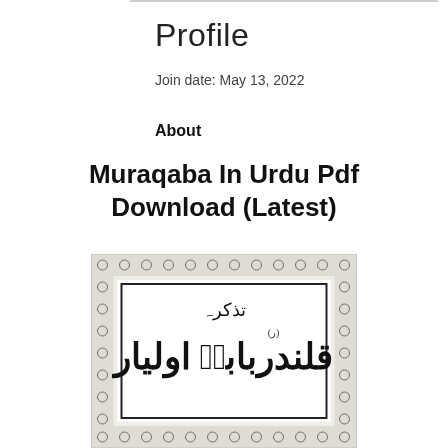Profile
Join date: May 13, 2022
About
Muraqaba In Urdu Pdf Download (Latest)
[Figure (photo): Book cover of an Urdu book with decorative border pattern, showing Urdu calligraphic text including 'تذکرہ' at top and large calligraphy below, black and white]